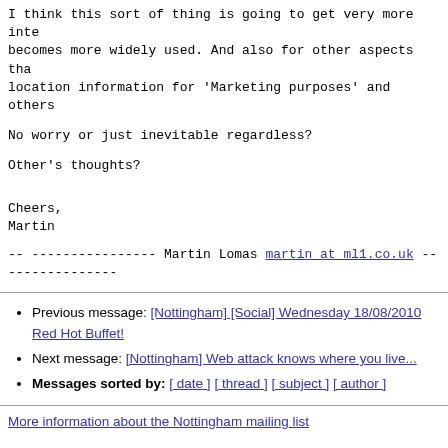I think this sort of thing is going to get very more inte
becomes more widely used. And also for other aspects tha
location information for 'Marketing purposes' and others
No worry or just inevitable regardless?
Other's thoughts?
Cheers,
Martin
--
----------------
Martin Lomas
martin at ml1.co.uk
----------------
Previous message: [Nottingham] [Social] Wednesday 18/08/2010 Red Hot Buffet!
Next message: [Nottingham] Web attack knows where you live...
Messages sorted by: [ date ] [ thread ] [ subject ] [ author ]
More information about the Nottingham mailing list